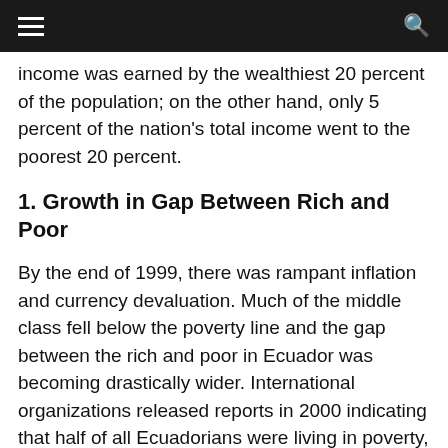≡   🔍
income was earned by the wealthiest 20 percent of the population; on the other hand, only 5 percent of the nation's total income went to the poorest 20 percent.
1. Growth in Gap Between Rich and Poor
By the end of 1999, there was rampant inflation and currency devaluation. Much of the middle class fell below the poverty line and the gap between the rich and poor in Ecuador was becoming drastically wider. International organizations released reports in 2000 indicating that half of all Ecuadorians were living in poverty, particularly in non-urban areas where